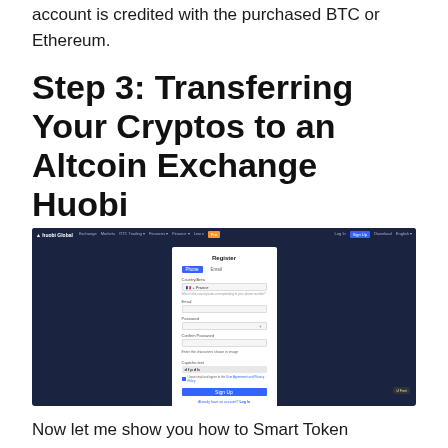account is credited with the purchased BTC or Ethereum.
Step 3: Transferring Your Cryptos to an Altcoin Exchange Huobi
[Figure (screenshot): Screenshot of the Huobi cryptocurrency exchange registration page showing a Register form with fields for phone/email selection, country (France), email, password, confirm password, captcha, and a Sign Up button, set against a dark navy background.]
Now let me show you how to Smart Token